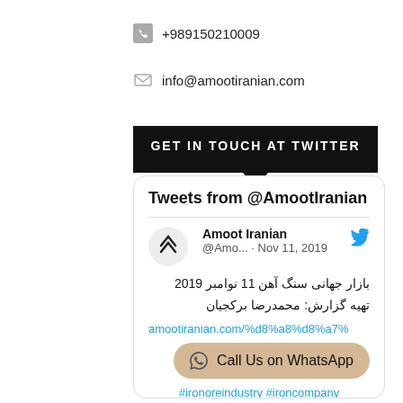+989150210009
info@amootiranian.com
GET IN TOUCH AT TWITTER
[Figure (screenshot): Twitter widget showing Tweets from @AmootIranian, with a tweet by Amoot Iranian dated Nov 11, 2019 containing Persian text about iron ore market, a link, WhatsApp button, and hashtags #ironoreindustry #ironcompany]
Tweets from @AmootIranian
Amoot Iranian @Amo... · Nov 11, 2019
بازار جهانی سنگ آهن 11 نوامبر 2019 تهیه گزارش: محمدرضا برکجیان
amootiranian.com/%d8%a8%d8%a7%
Call Us on WhatsApp
#ironoreindustry #ironcompany